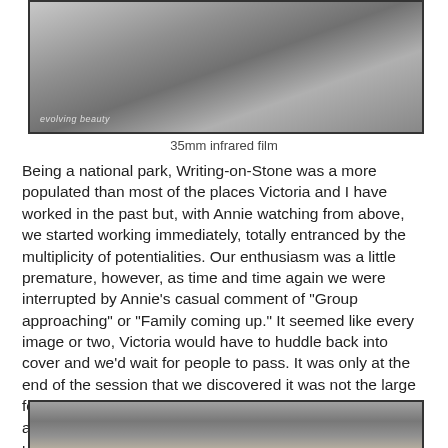[Figure (photo): Black and white photograph of a figure on rocky terrain, with watermark text 'evolving beauty' in lower left corner. Taken on 35mm infrared film.]
35mm infrared film
Being a national park, Writing-on-Stone was a more populated than most of the places Victoria and I have worked in the past but, with Annie watching from above, we started working immediately, totally entranced by the multiplicity of potentialities. Our enthusiasm was a little premature, however, as time and time again we were interrupted by Annie's casual comment of "Group approaching" or "Family coming up." It seemed like every image or two, Victoria would have to huddle back into cover and we'd wait for people to pass. It was only at the end of the session that we discovered it was not the large format camera and possibly nude model that was attracting all the attention, but a small grey rabbit, huddled under a rock just above where we were working.
[Figure (photo): Black and white photograph of rocky terrain, partially visible at bottom of page.]